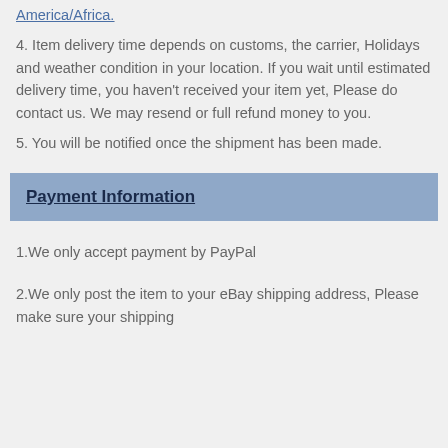business days to arrive in Latin America/North America/Africa.
4. Item delivery time depends on customs, the carrier, Holidays and weather condition in your location. If you wait until estimated delivery time, you haven't received your item yet, Please do contact us. We may resend or full refund money to you.
5. You will be notified once the shipment has been made.
Payment Information
1.We only accept payment by PayPal
2.We only post the item to your eBay shipping address, Please make sure your shipping